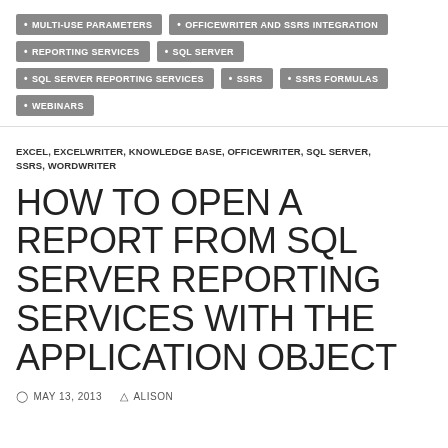MULTI-USE PARAMETERS
OFFICEWRITER AND SSRS INTEGRATION
REPORTING SERVICES
SQL SERVER
SQL SERVER REPORTING SERVICES
SSRS
SSRS FORMULAS
WEBINARS
EXCEL, EXCELWRITER, KNOWLEDGE BASE, OFFICEWRITER, SQL SERVER, SSRS, WORDWRITER
HOW TO OPEN A REPORT FROM SQL SERVER REPORTING SERVICES WITH THE APPLICATION OBJECT
MAY 13, 2013   ALISON